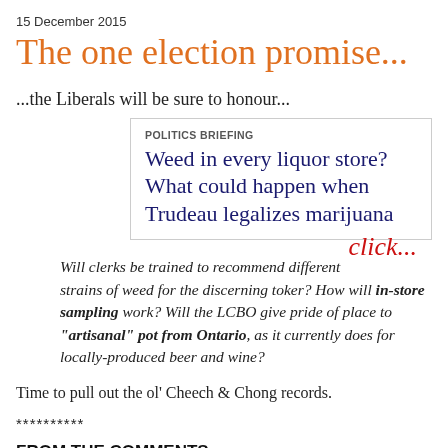15 December 2015
The one election promise...
...the Liberals will be sure to honour...
[Figure (screenshot): A news article box with label 'POLITICS BRIEFING', headline 'Weed in every liquor store? What could happen when Trudeau legalizes marijuana', and a red italic 'click...' link at bottom right.]
Will clerks be trained to recommend different strains of weed for the discerning toker? How will in-store sampling work? Will the LCBO give pride of place to "artisanal" pot from Ontario, as it currently does for locally-produced beer and wine?
Time to pull out the ol' Cheech & Chong records.
**********
FROM THE COMMENTS: